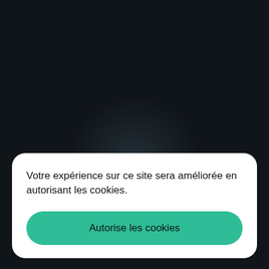[Figure (screenshot): Dark background with a faint circular glow effect in the center, suggesting a website or app interface in dark mode.]
Votre expérience sur ce site sera améliorée en autorisant les cookies.
Autorise les cookies